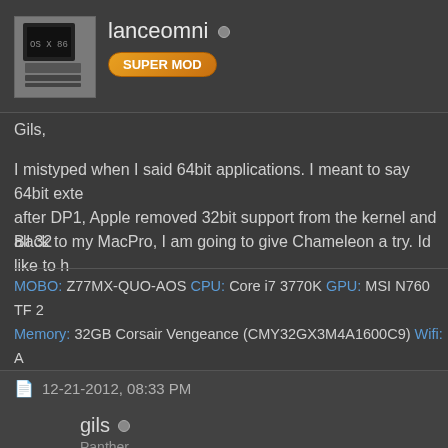[Figure (illustration): Vintage computer avatar icon for user lanceomni]
lanceomni
SUPER MOD
Gils,
I mistyped when I said 64bit applications. I meant to say 64bit exte after DP1, Apple removed 32bit support from the kernel and all 32
Back to my MacPro, I am going to give Chameleon a try. Id like to h
MOBO: Z77MX-QUO-AOS CPU: Core i7 3770K GPU: MSI N760 TF 2 Memory: 32GB Corsair Vengeance (CMY32GX3M4A1600C9) Wifi: A Monitor: AOC Q2963Pm 29" WFHD 2560x1080 21:9 Interests: KDE on Apple Darwin, Keeping it real with the command
12-21-2012, 08:33 PM
gils
Panther